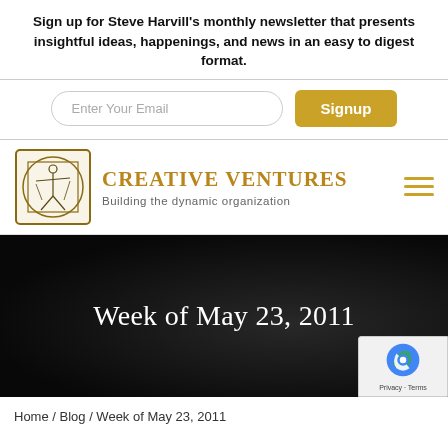Sign up for Steve Harvill's monthly newsletter that presents insightful ideas, happenings, and news in an easy to digest format.
[Figure (screenshot): Email input field with placeholder 'Enter Your Email' and a gold 'Signup' button]
[Figure (logo): Creative Ventures logo with Vitruvian man illustration and text 'CREATIVE VENTURES - Building the dynamic organization']
Week of May 23, 2011
Home / Blog / Week of May 23, 2011